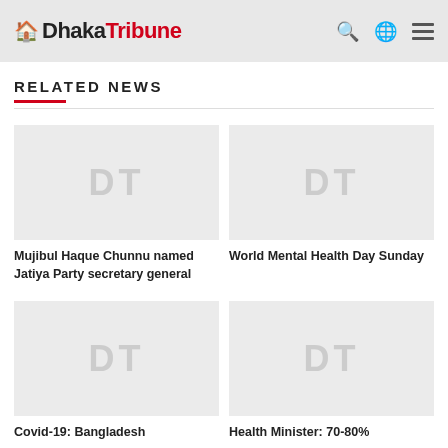Dhaka Tribune
RELATED NEWS
[Figure (other): Placeholder thumbnail with DT watermark for article: Mujibul Haque Chunnu named Jatiya Party secretary general]
Mujibul Haque Chunnu named Jatiya Party secretary general
[Figure (other): Placeholder thumbnail with DT watermark for article: World Mental Health Day Sunday]
World Mental Health Day Sunday
[Figure (other): Placeholder thumbnail with DT watermark for article: Covid-19: Bangladesh]
Covid-19: Bangladesh
[Figure (other): Placeholder thumbnail with DT watermark for article: Health Minister: 70-80%]
Health Minister: 70-80%